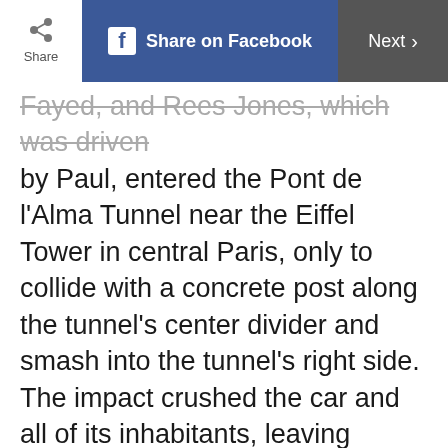Share | Share on Facebook | Next >
Fayed, and Rees Jones, which was driven by Paul, entered the Pont de l'Alma Tunnel near the Eiffel Tower in central Paris, only to collide with a concrete post along the tunnel's center divider and smash into the tunnel's right side. The impact crushed the car and all of its inhabitants, leaving Fayed and Paul dead at the scene. Diana had to be extracted from the car with an electric chainsaw. She was tended to first by Dr. Maillez, and then by first responders who arrived by ambulance, including firefighter Gourmelon, who may have heard Princess Diana's last words.